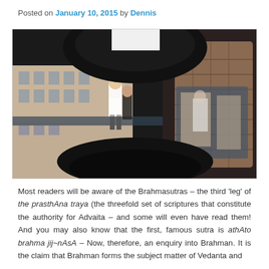Posted on January 10, 2015 by Dennis
[Figure (photo): A surreal/reflected distorted urban street scene showing people and brick buildings, mirrored and warped as if seen through a curved reflective surface.]
Most readers will be aware of the Brahmasutras – the third 'leg' of the prasthAna traya (the threefold set of scriptures that constitute the authority for Advaita – and some will even have read them! And you may also know that the first, famous sutra is athAto brahma jij~nAsA – Now, therefore, an enquiry into Brahman. It is the claim that Brahman forms the subject matter of Vedanta and